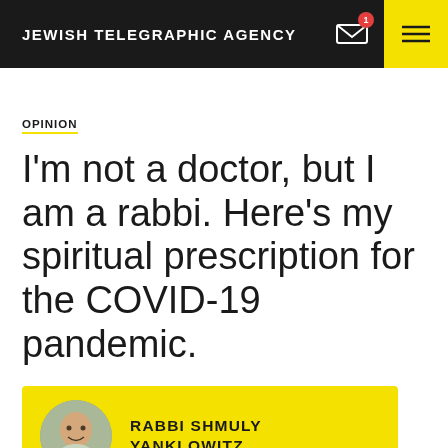JEWISH TELEGRAPHIC AGENCY
OPINION
I'm not a doctor, but I am a rabbi. Here's my spiritual prescription for the COVID-19 pandemic.
RABBI SHMULY YANKLOWITZ